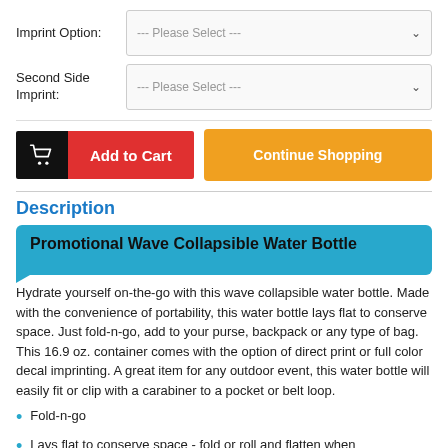Imprint Option:
--- Please Select ---
Second Side Imprint:
--- Please Select ---
[Figure (screenshot): Add to Cart button with black cart icon and red label, plus orange Continue Shopping button]
Description
Promotional Wave Collapsible Water Bottle
Hydrate yourself on-the-go with this wave collapsible water bottle. Made with the convenience of portability, this water bottle lays flat to conserve space. Just fold-n-go, add to your purse, backpack or any type of bag. This 16.9 oz. container comes with the option of direct print or full color decal imprinting. A great item for any outdoor event, this water bottle will easily fit or clip with a carabiner to a pocket or belt loop.
Fold-n-go
Lays flat to conserve space - fold or roll and flatten when